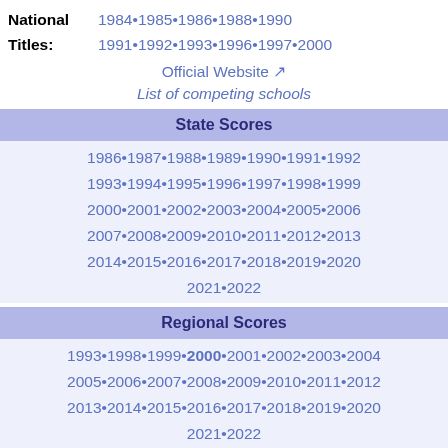National Titles: 1984•1985•1986•1988•1990 1991•1992•1993•1996•1997•2000
Official Website ↗
List of competing schools
State Scores
1986•1987•1988•1989•1990•1991•1992 1993•1994•1995•1996•1997•1998•1999 2000•2001•2002•2003•2004•2005•2006 2007•2008•2009•2010•2011•2012•2013 2014•2015•2016•2017•2018•2019•2020 2021•2022
Regional Scores
1993•1998•1999•2000•2001•2002•2003•2004 2005•2006•2007•2008•2009•2010•2011•2012 2013•2014•2015•2016•2017•2018•2019•2020 2021•2022
Region I • Region II • Region III Region IV • Region V • Region VI